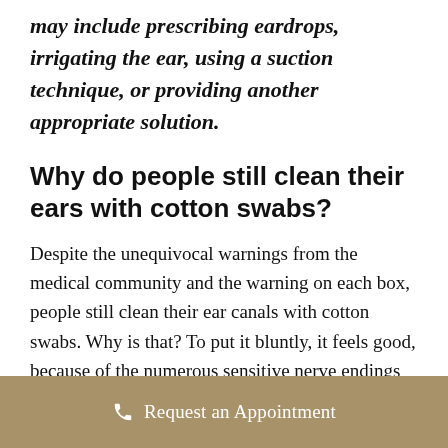may include prescribing eardrops, irrigating the ear, using a suction technique, or providing another appropriate solution.
Why do people still clean their ears with cotton swabs?
Despite the unequivocal warnings from the medical community and the warning on each box, people still clean their ear canals with cotton swabs. Why is that? To put it bluntly, it feels good, because of the numerous sensitive nerve endings in the ear canal. Compounding the problem is that it doesn't hurt. You...
Request an Appointment